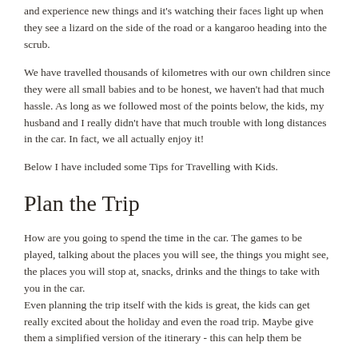and experience new things and it's watching their faces light up when they see a lizard on the side of the road or a kangaroo heading into the scrub.
We have travelled thousands of kilometres with our own children since they were all small babies and to be honest, we haven't had that much hassle. As long as we followed most of the points below, the kids, my husband and I really didn't have that much trouble with long distances in the car. In fact, we all actually enjoy it!
Below I have included some Tips for Travelling with Kids.
Plan the Trip
How are you going to spend the time in the car. The games to be played, talking about the places you will see, the things you might see, the places you will stop at, snacks, drinks and the things to take with you in the car.
Even planning the trip itself with the kids is great, the kids can get really excited about the holiday and even the road trip. Maybe give them a simplified version of the itinerary - this can help them be